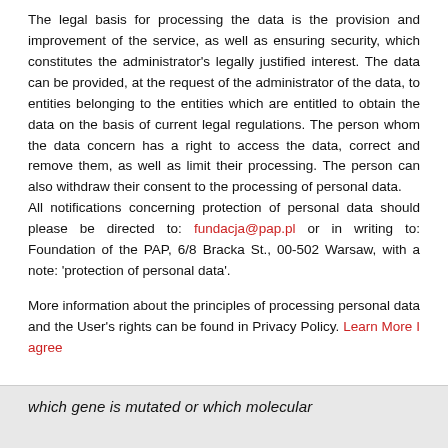The legal basis for processing the data is the provision and improvement of the service, as well as ensuring security, which constitutes the administrator's legally justified interest. The data can be provided, at the request of the administrator of the data, to entities belonging to the entities which are entitled to obtain the data on the basis of current legal regulations. The person whom the data concern has a right to access the data, correct and remove them, as well as limit their processing. The person can also withdraw their consent to the processing of personal data.
All notifications concerning protection of personal data should please be directed to: fundacja@pap.pl or in writing to: Foundation of the PAP, 6/8 Bracka St., 00-502 Warsaw, with a note: 'protection of personal data'.

More information about the principles of processing personal data and the User's rights can be found in Privacy Policy. Learn More I agree
which gene is mutated or which molecular